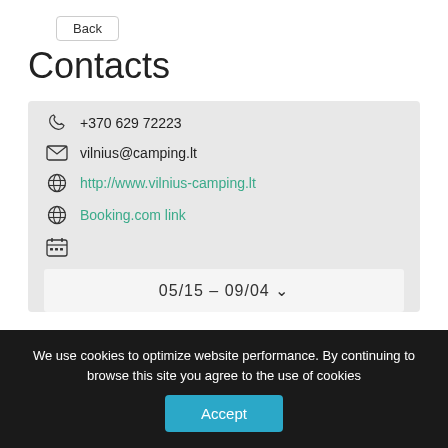Back
Contacts
+370 629 72223
vilnius@camping.lt
http://www.vilnius-camping.lt
Booking.com link
05/15 - 09/04
Prices
We use cookies to optimize website performance. By continuing to browse this site you agree to the use of cookies
Accept